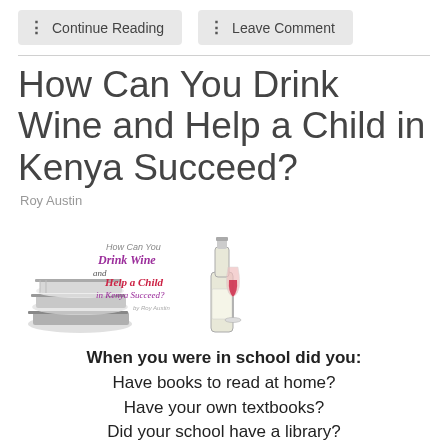Continue Reading   Leave Comment
How Can You Drink Wine and Help a Child in Kenya Succeed?
Roy Austin
[Figure (illustration): Book cover illustration showing stacked books on the left and a wine bottle with a glass of red wine on the right, with stylized text reading 'How Can You Drink Wine and Help a Child in Kenya Succeed?' in purple and red lettering.]
When you were in school did you:
Have books to read at home?
Have your own textbooks?
Did your school have a library?
Rural schools in Kenya have few books, and in some cases, no books. Often 20-30 children must share one textbook. How